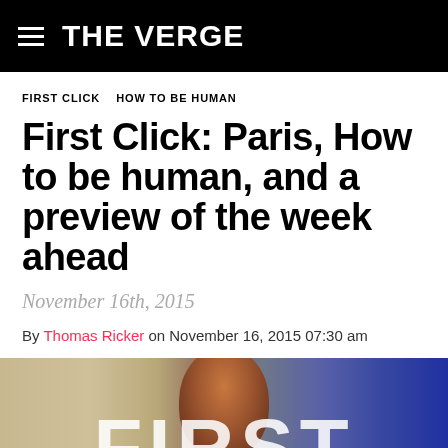THE VERGE
FIRST CLICK   HOW TO BE HUMAN
First Click: Paris, How to be human, and a preview of the week ahead
November 16th, 2015
By Thomas Ricker on November 16, 2015 07:30 am
[Figure (photo): Hero image with large white 'FIRST' text overlay and a person's face partially visible in the background]